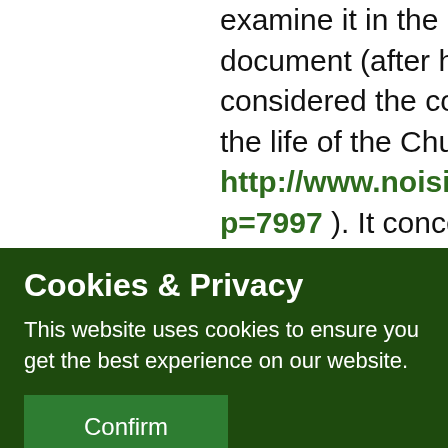examine it in the attached document (after having considered the coronavirus and the life of the Church, read http://www.noisiamochiesa.org p=7997 ). It concerns the revival of Indulgences, a relatively recent ecclesiastical practice in the
Cookies & Privacy
This website uses cookies to ensure you get the best experience on our website.
Confirm